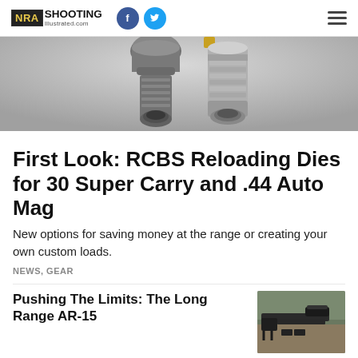NRA Shooting Illustrated .com
[Figure (photo): Close-up photo of metallic reloading dies, showing threaded cylindrical components against a gray background]
First Look: RCBS Reloading Dies for 30 Super Carry and .44 Auto Mag
New options for saving money at the range or creating your own custom loads.
NEWS, GEAR
Pushing The Limits: The Long Range AR-15
[Figure (photo): Photo of a long-range AR-15 rifle with a scope mounted on a bipod, placed on a surface outdoors]